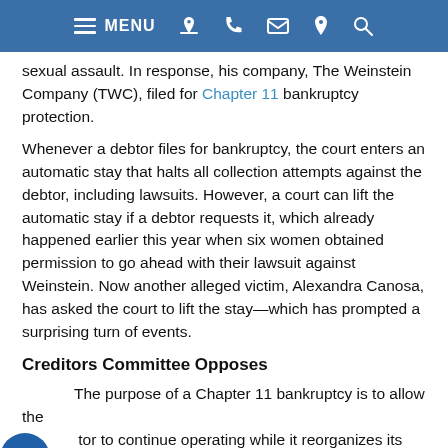MENU [navigation icons]
sexual assault. In response, his company, The Weinstein Company (TWC), filed for Chapter 11 bankruptcy protection.
Whenever a debtor files for bankruptcy, the court enters an automatic stay that halts all collection attempts against the debtor, including lawsuits. However, a court can lift the automatic stay if a debtor requests it, which already happened earlier this year when six women obtained permission to go ahead with their lawsuit against Weinstein. Now another alleged victim, Alexandra Canosa, has asked the court to lift the stay—which has prompted a surprising turn of events.
Creditors Committee Opposes
The purpose of a Chapter 11 bankruptcy is to allow the debtor to continue operating while it reorganizes its debts. As part of the reorganization, unsecured creditors might have their claims compromised, meaning they will not receive 100% of what they are owed.